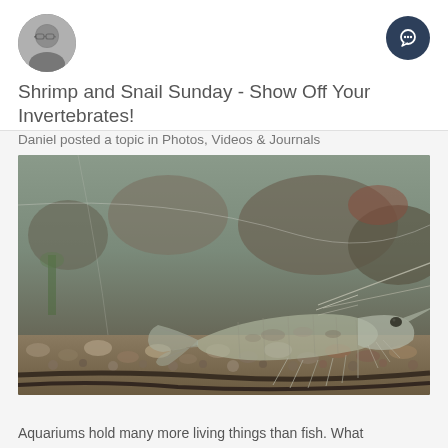[Figure (photo): Circular avatar photo of a man with glasses, grayscale]
[Figure (other): Dark circular button with chat/comment bubble icon on dark navy background]
Shrimp and Snail Sunday - Show Off Your Invertebrates!
Daniel posted a topic in Photos, Videos & Journals
[Figure (photo): Close-up macro photograph of a freshwater shrimp on aquarium gravel substrate with blurred background showing rocks, plants and aquarium decor]
Aquariums hold many more living things than fish. What